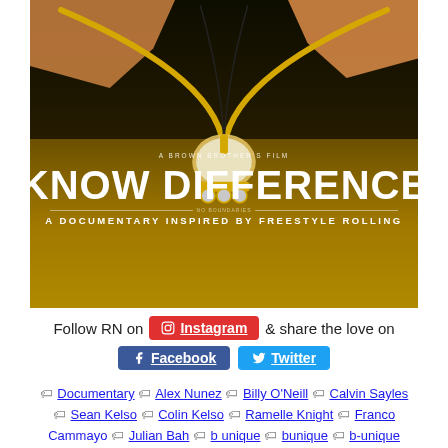[Figure (photo): Movie poster for 'Know Difference – A Documentary Inspired by Freestyle Rolling' by Brown Brothers Film. Image shows hands holding gold chain necklace with a roller-skate pendant against dark background.]
Follow RN on Instagram & share the love on Facebook Twitter
🏷 Documentary 🏷 Alex Nunez 🏷 Billy O'Neill 🏷 Calvin Sayles 🏷 Sean Kelso 🏷 Colin Kelso 🏷 Ramelle Knight 🏷 Franco Cammayo 🏷 Julian Bah 🏷 b unique 🏷 bunique 🏷 b-unique